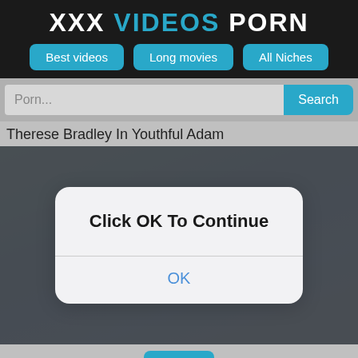XXX VIDEOS PORN
Best videos
Long movies
All Niches
Porn...
Search
Therese Bradley In Youthful Adam
[Figure (screenshot): Video player with dark background showing a person in a jacket, with a play button visible.]
Click OK To Continue
OK